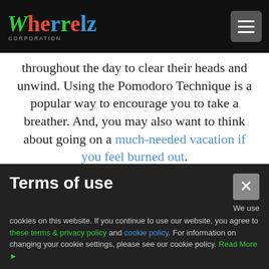Wherrelz Corporation
throughout the day to clear their heads and unwind. Using the Pomodoro Technique is a popular way to encourage you to take a breather. And, you may also want to think about going on a much-needed vacation if you feel burned out.
39. Come on and get happy.
When you're in a better mood, you tend to be more productive. One study shows that happy
Terms of use
We use cookies on this website. If you continue to use our website, you agree to these terms & privacy policy and cookie policy. For information on changing your cookie settings, please see our cookie policy. Read More ▶